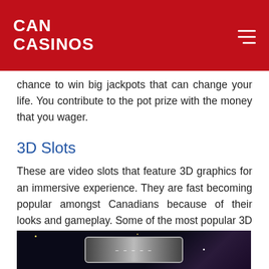CAN CASINOS
chance to win big jackpots that can change your life. You contribute to the pot prize with the money that you wager.
3D Slots
These are video slots that feature 3D graphics for an immersive experience. They are fast becoming popular amongst Canadians because of their looks and gameplay. Some of the most popular 3D slots are developed by providers such as BetSoft.
[Figure (photo): Dark space-themed background with a slot machine in the center, stars visible in the background]